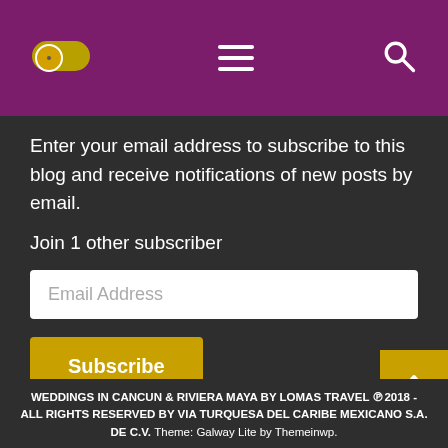[Figure (screenshot): Purple navigation header bar with a toggle switch on the left, hamburger menu icon in the center, and a search icon on the right]
Enter your email address to subscribe to this blog and receive notifications of new posts by email.
Join 1 other subscriber
Email Address
Subscribe
WEDDINGS IN CANCUN & RIVIERA MAYA BY LOMAS TRAVEL ℗2018 - ALL RIGHTS RESERVED BY VIA TURQUESA DEL CARIBE MEXICANO S.A. DE C.V. Theme: Galway Lite by Themeinwp.